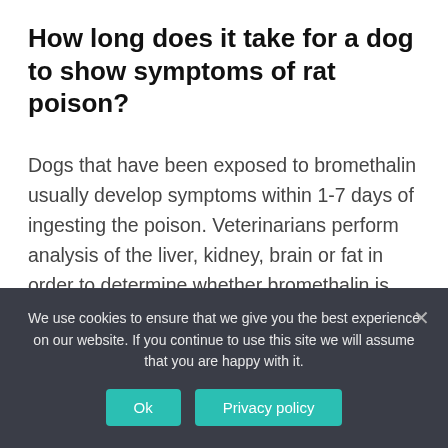How long does it take for a dog to show symptoms of rat poison?
Dogs that have been exposed to bromethalin usually develop symptoms within 1-7 days of ingesting the poison. Veterinarians perform analysis of the liver, kidney, brain or fat in order to determine whether bromethalin is present in the dog's system. This also enables them to find out the severity of the poisoning.
Is it normal for a dog to vomit all the
We use cookies to ensure that we give you the best experience on our website. If you continue to use this site we will assume that you are happy with it.